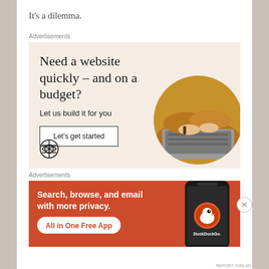It's a dilemma.
Advertisements
[Figure (illustration): WordPress advertisement: 'Need a website quickly – and on a budget? Let us build it for you' with a 'Let's get started' button, WordPress logo, and a circular photo of hands typing on a laptop.]
Advertisements
[Figure (illustration): DuckDuckGo advertisement: 'Search, browse, and email with more privacy. All in One Free App' with DuckDuckGo logo on an orange background with a phone mockup.]